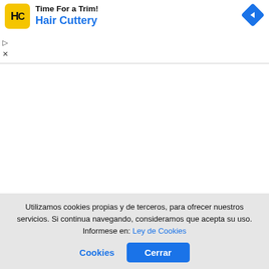[Figure (screenshot): Advertisement banner for Hair Cuttery showing yellow HC logo icon, bold 'Hair Cuttery' title in blue, partial top text, and a blue diamond-shaped navigation arrow icon on the right.]
[Figure (screenshot): Collapse/toggle button with an upward-pointing caret (^) chevron inside a white rounded-rectangle box.]
Utilizamos cookies propias y de terceros, para ofrecer nuestros servicios. Si continua navegando, consideramos que acepta su uso. Informese en: Ley de Cookies
Cerrar